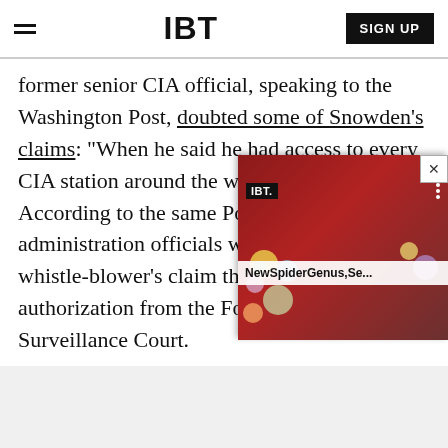IBT | SIGN UP
former senior CIA official, speaking to the Washington Post, doubted some of Snowden’s claims: “When he said he had access to every CIA station around the world, he’s lying.” According to the same Post article, administration officials were baffled by the whistle-blower’s claim that he was given authorization from the Foreign Intelligence Surveillance Court.
[Figure (screenshot): IBT video player overlay showing a colorful artistic portrait resembling David Bowie with planets/spheres, with caption 'NewSpiderGenus,Se...' and close button]